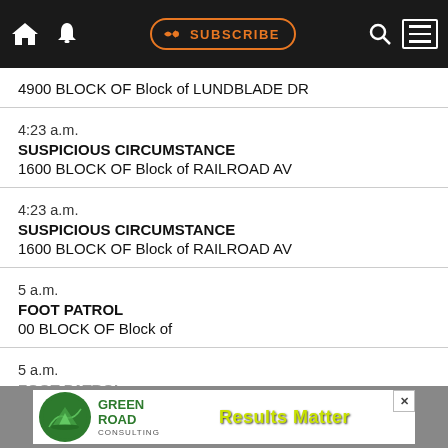[Figure (screenshot): Mobile app navigation bar with dark background, home icon, bell/notification icon, orange SUBSCRIBE button, search icon, and hamburger menu icon with white border]
4900 BLOCK OF Block of LUNDBLADE DR
4:23 a.m.
SUSPICIOUS CIRCUMSTANCE
1600 BLOCK OF Block of RAILROAD AV
4:23 a.m.
SUSPICIOUS CIRCUMSTANCE
1600 BLOCK OF Block of RAILROAD AV
5 a.m.
FOOT PATROL
00 BLOCK OF Block of
5 a.m.
[Figure (advertisement): Green Road Consulting advertisement banner with circular green logo with mountain scene, company name in green, and 'RESULTS MATTER' in yellow-green text on dark background]